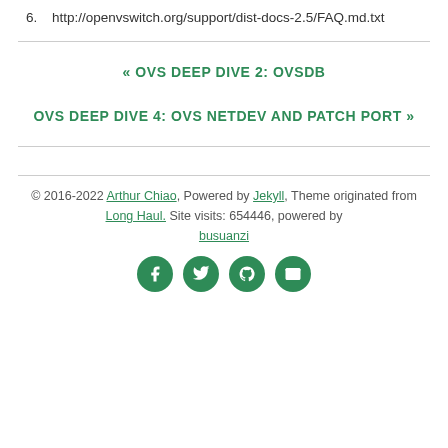6. http://openvswitch.org/support/dist-docs-2.5/FAQ.md.txt
« OVS DEEP DIVE 2: OVSDB
OVS DEEP DIVE 4: OVS NETDEV AND PATCH PORT »
© 2016-2022 Arthur Chiao, Powered by Jekyll, Theme originated from Long Haul. Site visits: 654446, powered by busuanzi